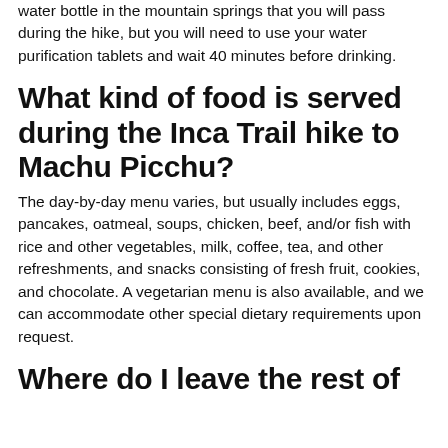water bottle in the mountain springs that you will pass during the hike, but you will need to use your water purification tablets and wait 40 minutes before drinking.
What kind of food is served during the Inca Trail hike to Machu Picchu?
The day-by-day menu varies, but usually includes eggs, pancakes, oatmeal, soups, chicken, beef, and/or fish with rice and other vegetables, milk, coffee, tea, and other refreshments, and snacks consisting of fresh fruit, cookies, and chocolate. A vegetarian menu is also available, and we can accommodate other special dietary requirements upon request.
Where do I leave the rest of